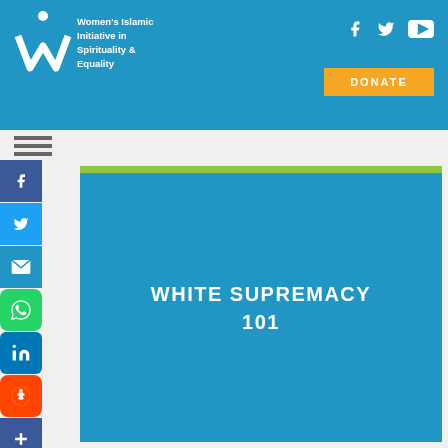Women's Islamic Initiative in Spirituality & Equality
[Figure (logo): WISE W logo with text: Women's Islamic Initiative in Spirituality & Equality]
[Figure (infographic): Blue image panel with green top bar and centered white bold text: WHITE SUPREMACY 101]
WHITE SUPREMACY 101